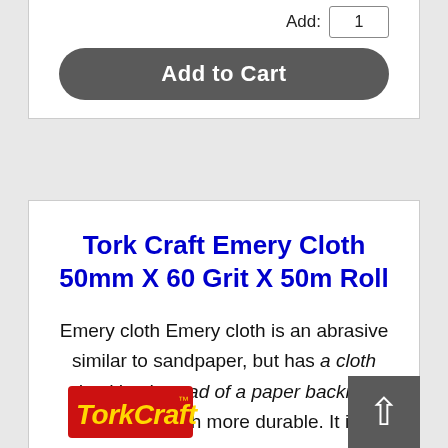Add: 1
Add to Cart
Tork Craft Emery Cloth 50mm X 60 Grit X 50m Roll
Emery cloth Emery cloth is an abrasive similar to sandpaper, but has a cloth backing instead of a paper backing making it much more durable. It is...
[Figure (logo): TorkCraft brand logo — red background with yellow italic text reading 'TorkCraft' and a small trademark symbol]